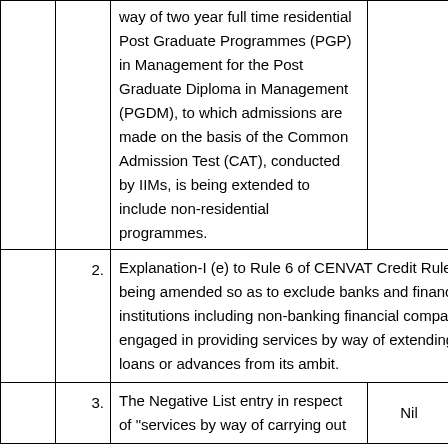|  |  | Description | Col4 | Col5 |
| --- | --- | --- | --- | --- |
|  |  | way of two year full time residential Post Graduate Programmes (PGP) in Management for the Post Graduate Diploma in Management (PGDM), to which admissions are made on the basis of the Common Admission Test (CAT), conducted by IIMs, is being extended to include non-residential programmes. |  |  |
|  | 2. | Explanation-I (e) to Rule 6 of CENVAT Credit Rules, 2004 is being amended so as to exclude banks and financial institutions including non-banking financial companies engaged in providing services by way of extending deposits, loans or advances from its ambit. |  |  |
|  | 3. | The Negative List entry in respect of "services by way of carrying out... | Nil | Nil |